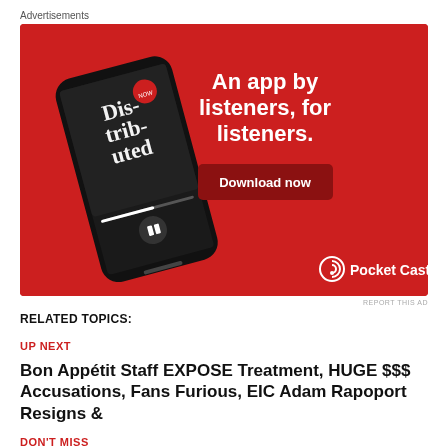Advertisements
[Figure (illustration): Pocket Casts advertisement banner with red background showing a smartphone displaying a podcast app with text 'Dis-tri-buted', tagline 'An app by listeners, for listeners.' with a 'Download now' button and Pocket Casts logo]
REPORT THIS AD
RELATED TOPICS:
UP NEXT
Bon Appétit Staff EXPOSE Treatment, HUGE $$$ Accusations, Fans Furious, EIC Adam Rapoport Resigns &
DON'T MISS